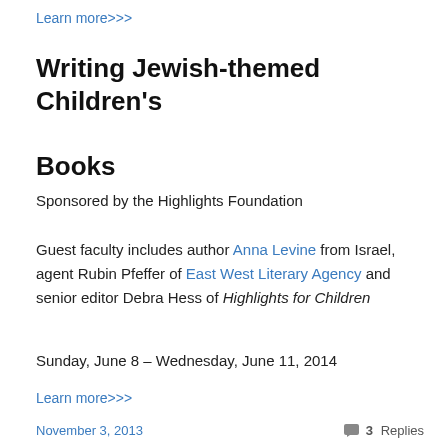Learn more>>>
Writing Jewish-themed Children's Books
Sponsored by the Highlights Foundation
Guest faculty includes author Anna Levine from Israel, agent Rubin Pfeffer of East West Literary Agency and senior editor Debra Hess of Highlights for Children
Sunday, June 8 – Wednesday, June 11, 2014
Learn more>>>
November 3, 2013   3 Replies